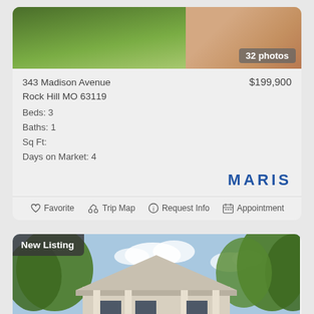[Figure (photo): Property photo showing grass lawn and a rock, with '32 photos' badge in bottom right corner]
343 Madison Avenue
Rock Hill MO 63119
Beds: 3
Baths: 1
Sq Ft:
Days on Market: 4
$199,900
MARIS
Favorite   Trip Map   Request Info   Appointment
[Figure (photo): New Listing - exterior photo of a craftsman bungalow style house with white columns, surrounded by trees with blue sky background]
New Listing